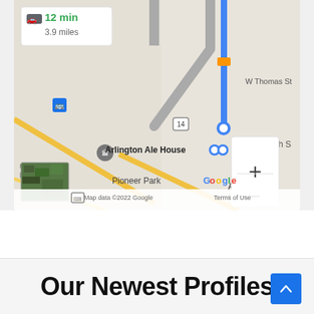[Figure (map): Google Maps showing driving directions to Arlington Ale House, with a route indicated by blue and gray lines. Shows W Thomas St, St Viator High School, Arlington Heights area. Duration shown: 12 min, 3.9 miles. Map data ©2022 Google. Zoom controls (+/-) visible on right side. Satellite thumbnail in bottom-left corner. Pioneer Park label visible.]
Our Newest Profiles